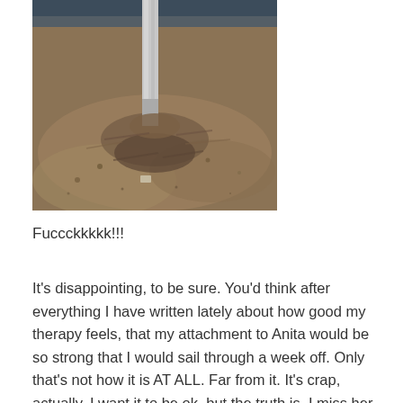[Figure (photo): A photograph showing the base of a pole or post stuck in sandy/muddy ground, with scattered debris and sand around it.]
Fuccckkkkk!!!
It's disappointing, to be sure. You'd think after everything I have written lately about how good my therapy feels, that my attachment to Anita would be so strong that I would sail through a week off. Only that's not how it is AT ALL. Far from it. It's crap, actually. I want it to be ok, but the truth is, I miss her a lot. I'm not surprised though, my life is a real